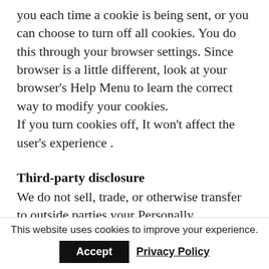you each time a cookie is being sent, or you can choose to turn off all cookies. You do this through your browser settings. Since browser is a little different, look at your browser's Help Menu to learn the correct way to modify your cookies.
If you turn cookies off, It won't affect the user's experience .
Third-party disclosure
We do not sell, trade, or otherwise transfer to outside parties your Personally Identifiable Information unless we provide users with advance notice. This does not include website
This website uses cookies to improve your experience.
Accept   Privacy Policy